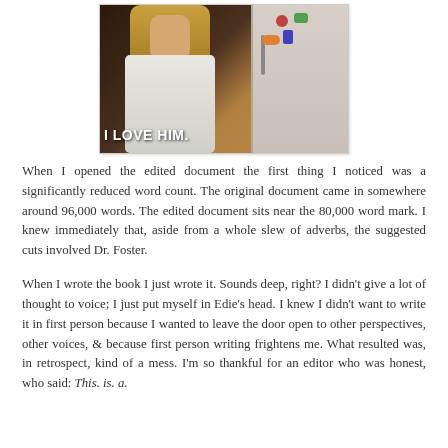[Figure (photo): A still from a TV show or movie showing a woman with long blonde hair standing near a refrigerator with colorful magnets. Text overlay reads 'I LOVE HIM.']
When I opened the edited document the first thing I noticed was a significantly reduced word count. The original document came in somewhere around 96,000 words. The edited document sits near the 80,000 word mark. I knew immediately that, aside from a whole slew of adverbs, the suggested cuts involved Dr. Foster.
When I wrote the book I just wrote it. Sounds deep, right? I didn't give a lot of thought to voice; I just put myself in Edie's head. I knew I didn't want to write it in first person because I wanted to leave the door open to other perspectives, other voices, & because first person writing frightens me. What resulted was, in retrospect, kind of a mess. I'm so thankful for an editor who was honest, who said: This. is. a. mess. She's also absolutely hilarious & her edit notes re...